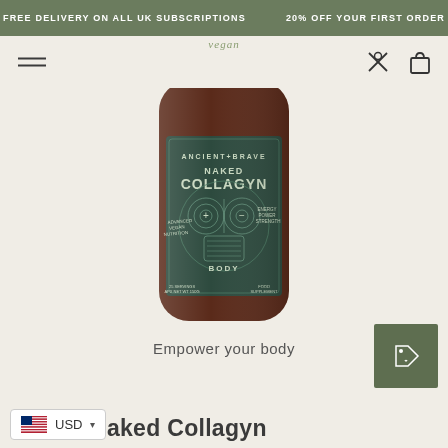FREE DELIVERY ON ALL UK SUBSCRIPTIONS    20% OFF YOUR FIRST ORDER
[Figure (photo): A dark amber glass jar with a dark green label featuring 'ANCIENT+BRAVE NAKED COLLAGYN BODY' with intricate geometric/mystic illustration. Label also reads 'ADVANCED VEGAN NUTRITION', '25 SERVINGS', 'APX NET WT 150G', 'FOOD SUPPLEMENT'.]
Empower your body
[Figure (logo): US flag icon followed by 'USD' with dropdown arrow — currency selector widget]
Naked Collagyn